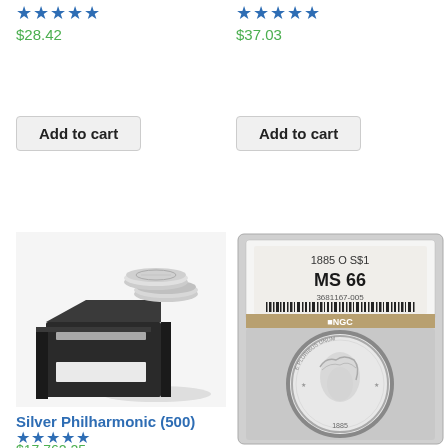★★★★★
$28.42
★★★★★
$37.03
Add to cart
Add to cart
[Figure (photo): Box of Silver Philharmonic coins with two coins displayed on top]
[Figure (photo): NGC graded coin slab showing 1885 O S$1 MS 66 Morgan Silver Dollar]
Silver Philharmonic (500)
★★★★★
$17,762.25